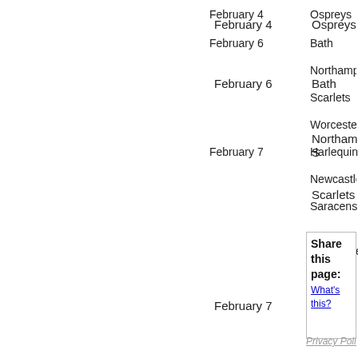February 4
Ospreys
February 6
Bath
Northampton S
Scarlets
Worcester Wa
February 7
Harlequins
Newcastle Fal
Saracens
Share this page:
What's this?
Privacy Polic